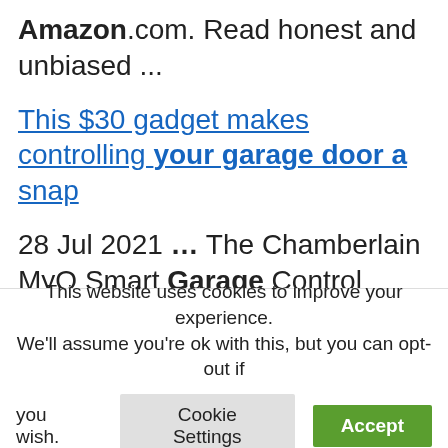Amazon.com. Read honest and unbiased ...
This $30 gadget makes controlling your garage door a snap
28 Jul 2021 ... The Chamberlain MyQ Smart Garage Control explains itself with the name. For $29.98, it sets out to be a catchall solution for remote access ...
Customer reviews: eKyre Smart
This website uses cookies to improve your experience. We'll assume you're ok with this, but you can opt-out if you wish.